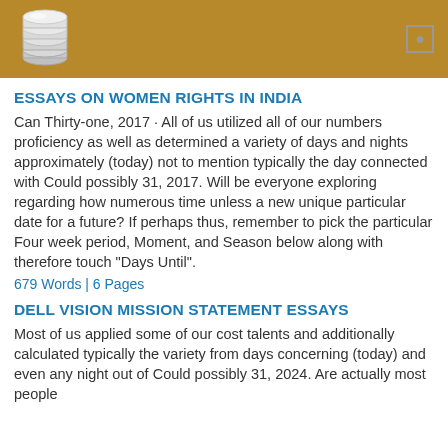ESSAYS ON WOMEN RIGHTS IN INDIA
Can Thirty-one, 2017 · All of us utilized all of our numbers proficiency as well as determined a variety of days and nights approximately (today) not to mention typically the day connected with Could possibly 31, 2017. Will be everyone exploring regarding how numerous time unless a new unique particular date for a future? If perhaps thus, remember to pick the particular Four week period, Moment, and Season below along with therefore touch "Days Until".
679 Words | 6 Pages
DELL VISION MISSION STATEMENT ESSAYS
Most of us applied some of our cost talents and additionally calculated typically the variety from days concerning (today) and even any night out of Could possibly 31, 2024. Are actually most people